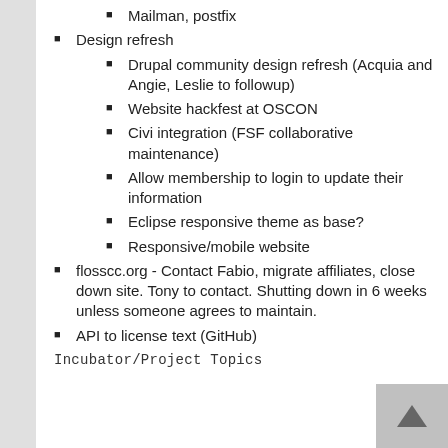Mailman, postfix
Design refresh
Drupal community design refresh (Acquia and Angie, Leslie to followup)
Website hackfest at OSCON
Civi integration (FSF collaborative maintenance)
Allow membership to login to update their information
Eclipse responsive theme as base?
Responsive/mobile website
flosscc.org - Contact Fabio, migrate affiliates, close down site. Tony to contact. Shutting down in 6 weeks unless someone agrees to maintain.
API to license text (GitHub)
Incubator/Project Topics